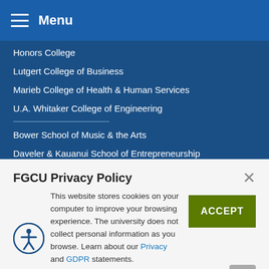Menu
Honors College
Lutgert College of Business
Marieb College of Health & Human Services
U.A. Whitaker College of Engineering
Bower School of Music & the Arts
Daveler & Kauanui School of Entrepreneurship
School of Nursing
FGCU Privacy Policy
This website stores cookies on your computer to improve your browsing experience. The university does not collect personal information as you browse. Learn about our Privacy and GDPR statements.